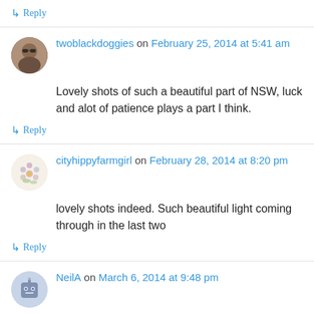↳ Reply
twoblackdoggies on February 25, 2014 at 5:41 am
Lovely shots of such a beautiful part of NSW, luck and alot of patience plays a part I think.
↳ Reply
cityhippyfarmgirl on February 28, 2014 at 8:20 pm
lovely shots indeed. Such beautiful light coming through in the last two
↳ Reply
NeilA on March 6, 2014 at 9:48 pm